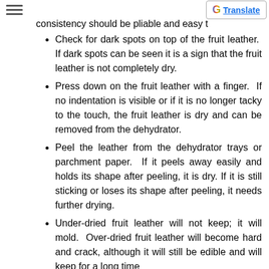consistency should be pliable and easy t…
Check for dark spots on top of the fruit leather.  If dark spots can be seen it is a sign that the fruit leather is not completely dry.
Press down on the fruit leather with a finger.  If no indentation is visible or if it is no longer tacky to the touch, the fruit leather is dry and can be removed from the dehydrator.
Peel the leather from the dehydrator trays or parchment paper.  If it peels away easily and holds its shape after peeling, it is dry. If it is still sticking or loses its shape after peeling, it needs further drying.
Under-dried fruit leather will not keep; it will mold.  Over-dried fruit leather will become hard and crack, although it will still be edible and will keep for a long time
9. Storage: To store the finished fruit leather…
Allow the leather to cool before wrapping up to…